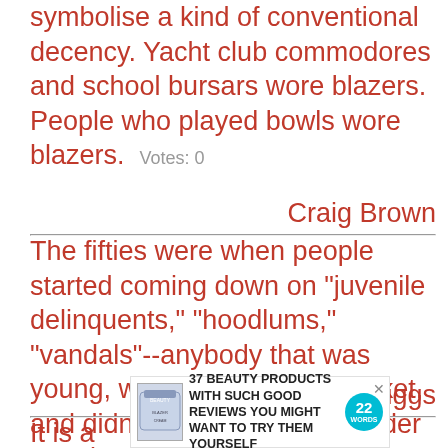symbolise a kind of conventional decency. Yacht club commodores and school bursars wore blazers. People who played bowls wore blazers.  Votes: 0
Craig Brown
The fifties were when people started coming down on "juvenile delinquents," "hoodlums," "vandals"--anybody that was young, wore a motorcycle jacket, and didn't act polite around older people.  Votes: 0
Joe Bob Briggs
[Figure (other): Advertisement: 37 BEAUTY PRODUCTS WITH SUCH GOOD REVIEWS YOU MIGHT WANT TO TRY THEM YOURSELF, with a product jar image and a teal circular badge showing '22 WORDS']
It is a  ie 1950s, when everyone wore starch white shirts and black slacks and perfect crewcuts and